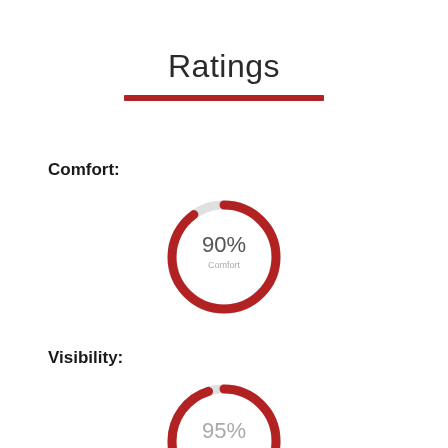Ratings
Comfort:
[Figure (donut-chart): Comfort]
Visibility:
[Figure (donut-chart): Visibility]